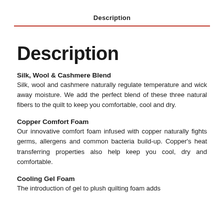Description
Description
Silk, Wool & Cashmere Blend
Silk, wool and cashmere naturally regulate temperature and wick away moisture. We add the perfect blend of these three natural fibers to the quilt to keep you comfortable, cool and dry.
Copper Comfort Foam
Our innovative comfort foam infused with copper naturally fights germs, allergens and common bacteria build-up. Copper's heat transferring properties also help keep you cool, dry and comfortable.
Cooling Gel Foam
The introduction of gel to plush quilting foam adds